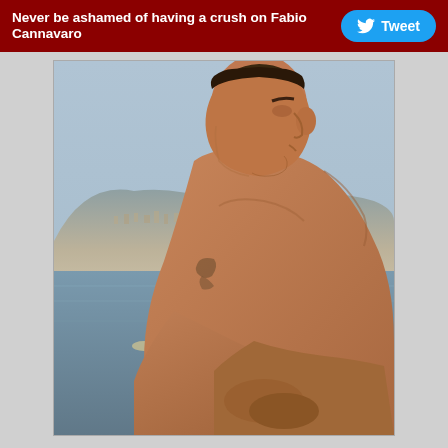Never be ashamed of having a crush on Fabio Cannavaro
[Figure (photo): Shirtless man with short hair viewed from the side, leaning forward with arms crossed, with a coastal landscape and mountains in the background]